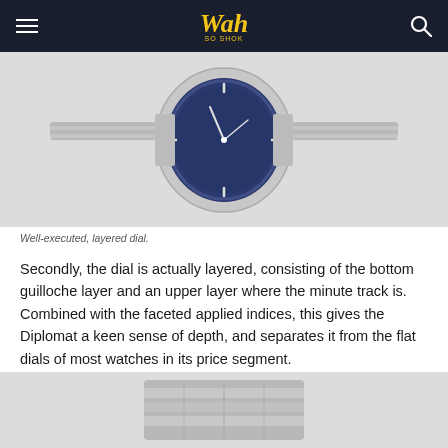Wah So Shok
[Figure (photo): Close-up photo of a watch with a blue guilloche dial and silver metal bracelet on a light gray background]
Well-executed, layered dial.
Secondly, the dial is actually layered, consisting of the bottom guilloche layer and an upper layer where the minute track is. Combined with the faceted applied indices, this gives the Diplomat a keen sense of depth, and separates it from the flat dials of most watches in its price segment.
[Figure (photo): Close-up photo of a silver metal watch bracelet/clasp on a light gray background]